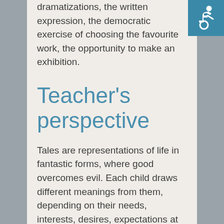dramatizations, the written expression, the democratic exercise of choosing the favourite work, the opportunity to make an exhibition.
Teacher's perspective
Tales are representations of life in fantastic forms, where good overcomes evil. Each child draws different meanings from them, depending on their needs, interests, desires, expectations at that time. A story or a fairy tale is like a travel ticket in a world full of new experiences...
[Figure (logo): International Symbol of Access (wheelchair accessibility icon) in white on teal/blue background, positioned top right corner]